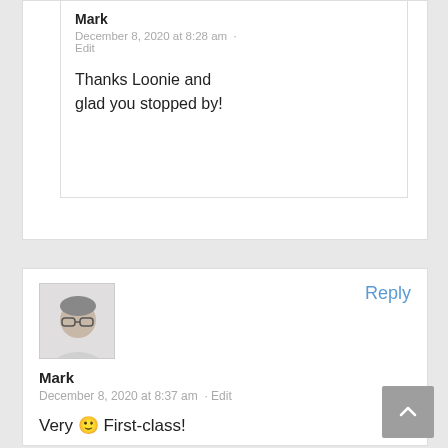Mark
December 8, 2020 at 8:28 am · Edit
Thanks Loonie and glad you stopped by!
[Figure (photo): Avatar photo of Mark, man with glasses]
Reply
Mark
December 8, 2020 at 8:37 am · Edit
Very 🙂 First-class!